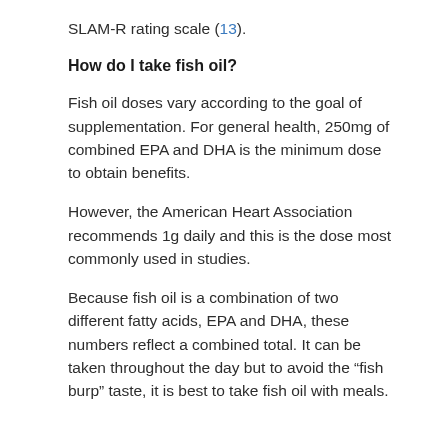SLAM-R rating scale (13).
How do I take fish oil?
Fish oil doses vary according to the goal of supplementation. For general health, 250mg of combined EPA and DHA is the minimum dose to obtain benefits.
However, the American Heart Association recommends 1g daily and this is the dose most commonly used in studies.
Because fish oil is a combination of two different fatty acids, EPA and DHA, these numbers reflect a combined total. It can be taken throughout the day but to avoid the “fish burp” taste, it is best to take fish oil with meals.